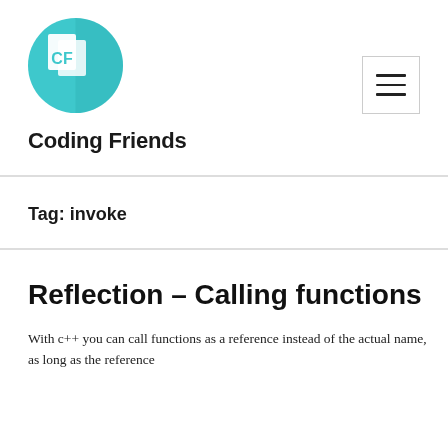[Figure (logo): Coding Friends logo: teal circle with a white split document icon showing 'CF' letters in teal]
Coding Friends
Tag: invoke
Reflection – Calling functions
With c++ you can call functions as a reference instead of the actual name, as long as the reference